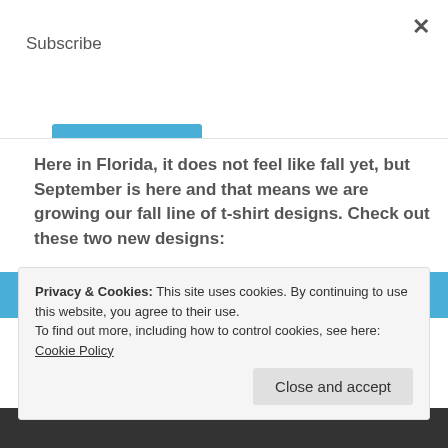×
Subscribe
Subscribe
Here in Florida, it does not feel like fall yet, but September is here and that means we are growing our fall line of t-shirt designs. Check out these two new designs:
Privacy & Cookies: This site uses cookies. By continuing to use this website, you agree to their use.
To find out more, including how to control cookies, see here: Cookie Policy
Close and accept